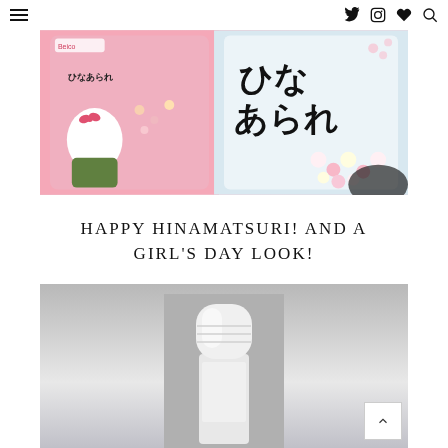Navigation bar with hamburger menu and social icons (Twitter, Instagram, heart/favorites, search)
[Figure (photo): Two bags of Japanese Hinamatsuri hina arare (rice puff candy) — one pink Hello Kitty branded bag from Beika and one clear bag showing colorful pink and white puffed rice snacks]
HAPPY HINAMATSURI! AND A GIRL'S DAY LOOK!
[Figure (photo): A white roll-on or bottle of beauty/skincare product photographed against a grey background, showing only the top half of the bottle]